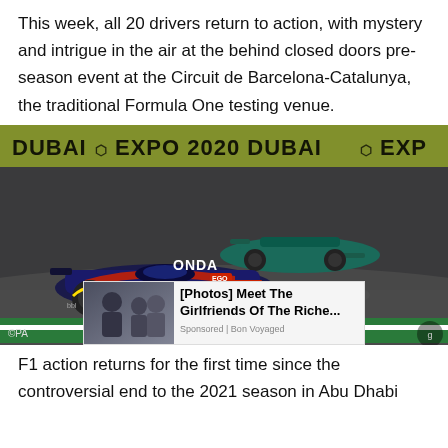This week, all 20 drivers return to action, with mystery and intrigue in the air at the behind closed doors pre-season event at the Circuit de Barcelona-Catalunya, the traditional Formula One testing venue.
[Figure (photo): Formula One race cars on track at Silverstone, Red Bull car in foreground with HONDA and ORACLE branding, Mercedes car behind, Dubai Expo 2020 advertising banner in background. Photo credit: PA]
[Figure (infographic): Advertisement overlay: [Photos] Meet The Girlfriends Of The Richest... Sponsored | Bon Voyaged]
F1 action returns for the first time since the controversial end to the 2021 season in Abu Dhabi